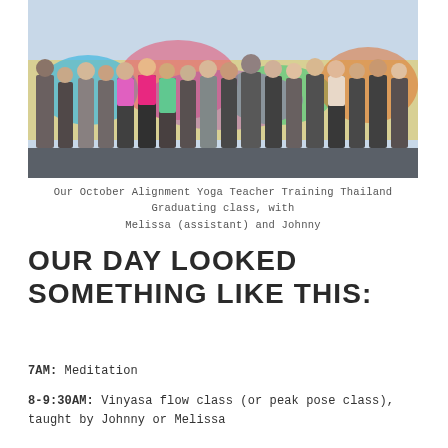[Figure (photo): Group photo of yoga teacher training graduating class standing in front of a colorful mural wall, wearing athletic/yoga clothing, posing with arms out and smiling]
Our October Alignment Yoga Teacher Training Thailand Graduating class, with Melissa (assistant) and Johnny
OUR DAY LOOKED SOMETHING LIKE THIS:
7AM: Meditation
8-9:30AM: Vinyasa flow class (or peak pose class), taught by Johnny or Melissa